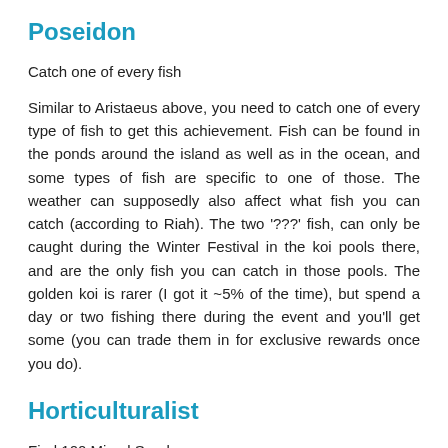Poseidon
Catch one of every fish
Similar to Aristaeus above, you need to catch one of every type of fish to get this achievement. Fish can be found in the ponds around the island as well as in the ocean, and some types of fish are specific to one of those. The weather can supposedly also affect what fish you can catch (according to Riah). The two '???' fish, can only be caught during the Winter Festival in the koi pools there, and are the only fish you can catch in those pools. The golden koi is rarer (I got it ~5% of the time), but spend a day or two fishing there during the event and you'll get some (you can trade them in for exclusive rewards once you do).
Horticulturalist
Find 100 Mixed Seeds